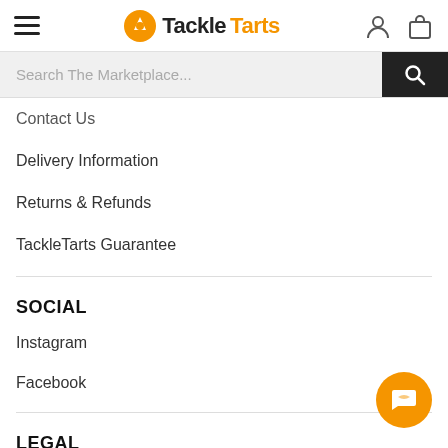TackleTarts
Search The Marketplace...
Contact Us
Delivery Information
Returns & Refunds
TackleTarts Guarantee
SOCIAL
Instagram
Facebook
LEGAL